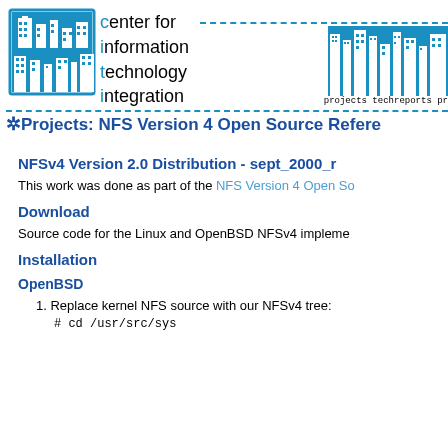[Figure (logo): Center for Information Technology Integration (CITI) logo with cityscape icon and text]
center for information technology integration — projects techreports pr
* Projects: NFS Version 4 Open Source Refere
NFSv4 Version 2.0 Distribution - sept_2000_r
This work was done as part of the NFS Version 4 Open So
Download
Source code for the Linux and OpenBSD NFSv4 impleme
Installation
OpenBSD
1. Replace kernel NFS source with our NFSv4 tree:
# cd /usr/src/sys